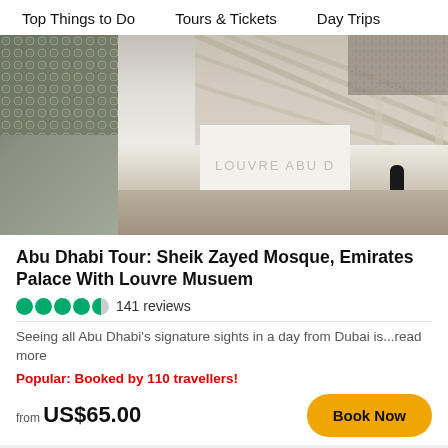Top Things to Do    Tours & Tickets    Day Trips
[Figure (photo): Photo of Louvre Abu Dhabi museum exterior — white geometric architecture with a person silhouette, latticed dome visible in background]
Abu Dhabi Tour: Sheik Zayed Mosque, Emirates Palace With Louvre Musuem
141 reviews
Seeing all Abu Dhabi's signature sights in a day from Dubai is...read more
Popular: Booked by 110 travellers!
from US$65.00
[Figure (photo): Partial bottom strip showing a blue-sky scene with architectural spire/minaret]